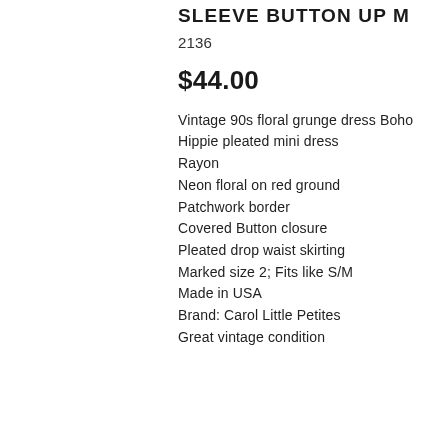SLEEVE BUTTON UP M
2136
$44.00
Vintage 90s floral grunge dress Boho
Hippie pleated mini dress
Rayon
Neon floral on red ground
Patchwork border
Covered Button closure
Pleated drop waist skirting
Marked size 2; Fits like S/M
Made in USA
Brand: Carol Little Petites
Great vintage condition